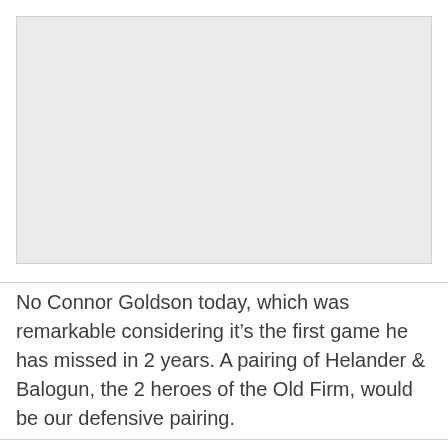[Figure (other): Large light gray rectangular placeholder image area]
No Connor Goldson today, which was remarkable considering it’s the first game he has missed in 2 years. A pairing of Helander & Balogun, the 2 heroes of the Old Firm, would be our defensive pairing.